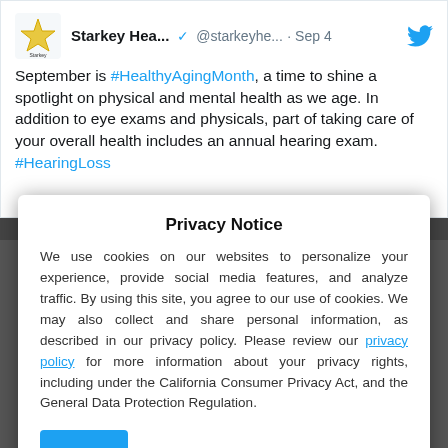[Figure (screenshot): A tweet from Starkey Hearing (@starkeyhe...) posted Sep 4. Text: 'September is #HealthyAgingMonth, a time to shine a spotlight on physical and mental health as we age. In addition to eye exams and physicals, part of taking care of your overall health includes an annual hearing exam. #HearingLoss']
Privacy Notice
We use cookies on our websites to personalize your experience, provide social media features, and analyze traffic. By using this site, you agree to our use of cookies. We may also collect and share personal information, as described in our privacy policy. Please review our privacy policy for more information about your privacy rights, including under the California Consumer Privacy Act, and the General Data Protection Regulation.